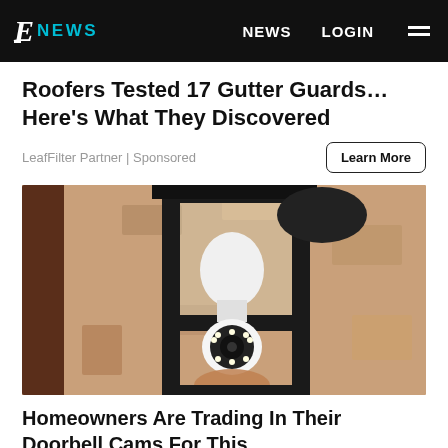E! NEWS — NEWS | LOGIN
Roofers Tested 17 Gutter Guards… Here's What They Discovered
LeafFilter Partner | Sponsored
[Figure (photo): A security camera shaped like a light bulb installed inside a black outdoor wall lantern fixture mounted on a stucco wall]
Homeowners Are Trading In Their Doorbell Cams For This